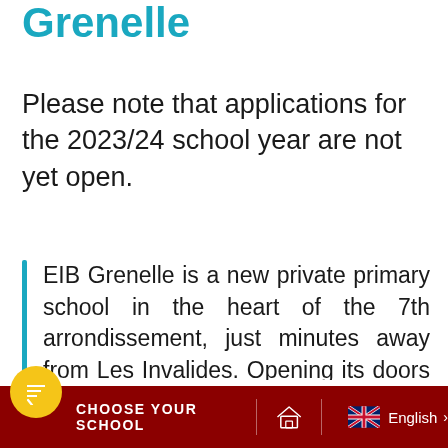Grenelle
Please note that applications for the 2023/24 school year are not yet open.
EIB Grenelle is a new private primary school in the heart of the 7th arrondissement, just minutes away from Les Invalides. Opening its doors in September 2021, the school welcomes pupils from Nursery to Year 5 (Maternelle to
CHOOSE YOUR SCHOOL   English >